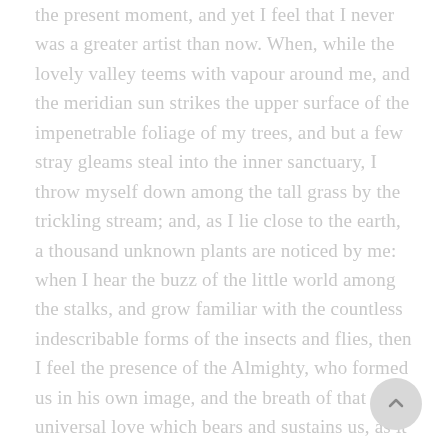the present moment, and yet I feel that I never was a greater artist than now. When, while the lovely valley teems with vapour around me, and the meridian sun strikes the upper surface of the impenetrable foliage of my trees, and but a few stray gleams steal into the inner sanctuary, I throw myself down among the tall grass by the trickling stream; and, as I lie close to the earth, a thousand unknown plants are noticed by me: when I hear the buzz of the little world among the stalks, and grow familiar with the countless indescribable forms of the insects and flies, then I feel the presence of the Almighty, who formed us in his own image, and the breath of that universal love which bears and sustains us, as it floats around us in an eternity of